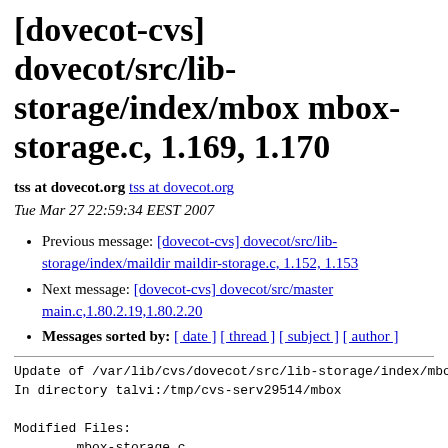[dovecot-cvs] dovecot/src/lib-storage/index/mbox mbox-storage.c, 1.169, 1.170
tss at dovecot.org tss at dovecot.org
Tue Mar 27 22:59:34 EEST 2007
Previous message: [dovecot-cvs] dovecot/src/lib-storage/index/maildir maildir-storage.c, 1.152, 1.153
Next message: [dovecot-cvs] dovecot/src/master main.c,1.80.2.19,1.80.2.20
Messages sorted by: [ date ] [ thread ] [ subject ] [ author ]
Update of /var/lib/cvs/dovecot/src/lib-storage/index/mbox
In directory talvi:/tmp/cvs-serv29514/mbox

Modified Files:
        mbox-storage.c
Log Message:
Disable index files if index directory can't be created.